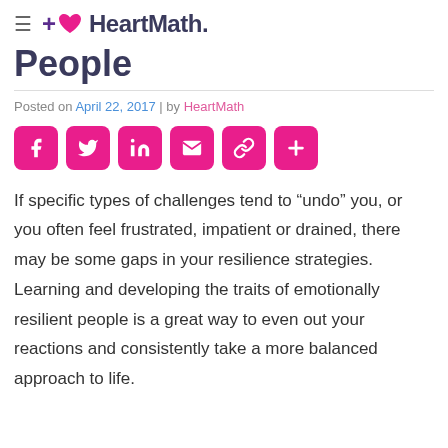HeartMath
People
Posted on April 22, 2017 | by HeartMath
[Figure (infographic): Social share buttons: Facebook, Twitter, LinkedIn, Email, Link, More]
If specific types of challenges tend to “undo” you, or you often feel frustrated, impatient or drained, there may be some gaps in your resilience strategies. Learning and developing the traits of emotionally resilient people is a great way to even out your reactions and consistently take a more balanced approach to life.